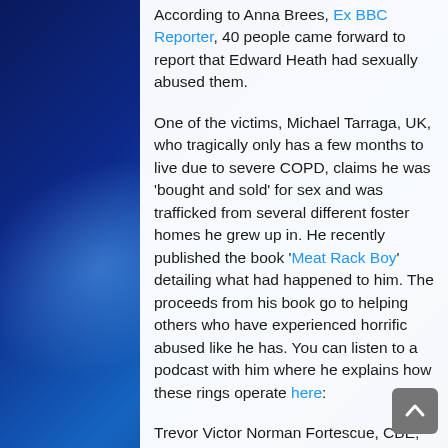According to Anna Brees, Ex BBC Reporter, 40 people came forward to report that Edward Heath had sexually abused them.
One of the victims, Michael Tarraga, UK, who tragically only has a few months to live due to severe COPD, claims he was 'bought and sold' for sex and was trafficked from several different foster homes he grew up in. He recently published the book 'Meat Rack Boy' detailing what had happened to him. The proceeds from his book go to helping others who have experienced horrific abused like he has. You can listen to a podcast with him where he explains how these rings operate here:
Trevor Victor Norman Fortescue, CBE, also known known as Tim Fortescue, was a British politician. He was the Conservative Member of Parliament (MP) for Liverpool Garston from 1966 to 1974.
Fortescue was appointed by Edward Heath as an